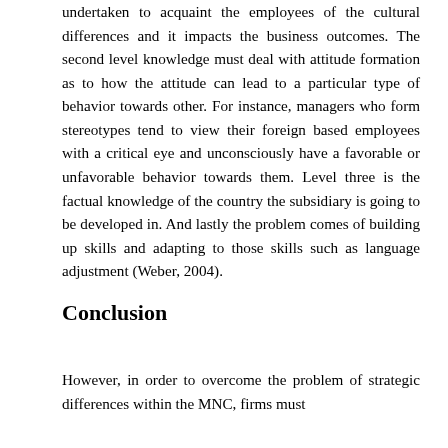undertaken to acquaint the employees of the cultural differences and it impacts the business outcomes. The second level knowledge must deal with attitude formation as to how the attitude can lead to a particular type of behavior towards other. For instance, managers who form stereotypes tend to view their foreign based employees with a critical eye and unconsciously have a favorable or unfavorable behavior towards them. Level three is the factual knowledge of the country the subsidiary is going to be developed in. And lastly the problem comes of building up skills and adapting to those skills such as language adjustment (Weber, 2004).
Conclusion
However, in order to overcome the problem of strategic differences within the MNC, firms must